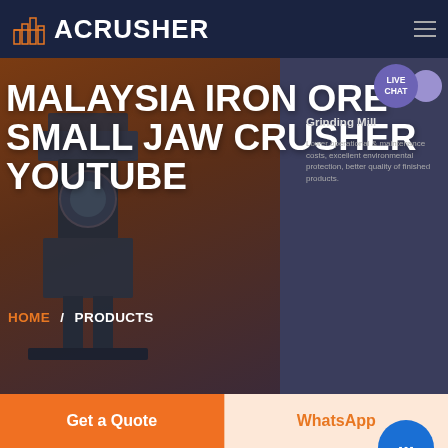ACRUSHER
MALAYSIA IRON ORE SMALL JAW CRUSHER YOUTUBE
Grinding Mill
Lower operational & maintenance costs, excellent environmental protection, better quality of finished products.
HOME / PRODUCTS
[Figure (screenshot): Website screenshot showing the ACrusher brand page with hero banner and navigation]
Get a Quote
WhatsApp